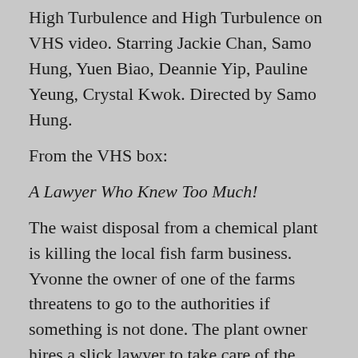High Turbulence and High Turbulence on VHS video. Starring Jackie Chan, Samo Hung, Yuen Biao, Deannie Yip, Pauline Yeung, Crystal Kwok. Directed by Samo Hung.
From the VHS box:
A Lawyer Who Knew Too Much!
The waist disposal from a chemical plant is killing the local fish farm business. Yvonne the owner of one of the farms threatens to go to the authorities if something is not done. The plant owner hires a slick lawyer to take care of the problem. Things heat up when Jackie falls for Yvonne’s one and only witness.